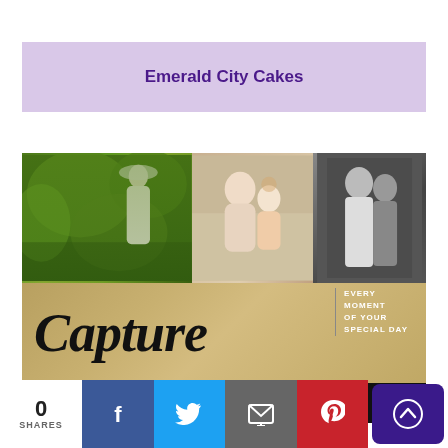Emerald City Cakes
[Figure (photo): Wedding photography advertisement showing three wedding photos (outdoor garden setting with bride holding bouquet, bride with flower girl at table, black and white couple portrait), gold section with cursive 'Capture' text and 'EVERY MOMENT OF YOUR SPECIAL DAY' tagline, black section with contact info: 07747 014473, @emmajonasphotography, www.emmajonasphotography.com]
0 SHARES